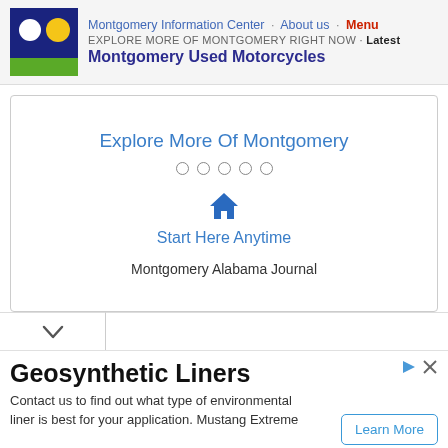Montgomery Information Center · About us · Menu
EXPLORE MORE OF MONTGOMERY RIGHT NOW · Latest
Montgomery Used Motorcycles
[Figure (logo): Montgomery Information Center logo: dark blue square with white circle and yellow semicircle, green bottom stripe]
Explore More Of Montgomery
Start Here Anytime
Montgomery Alabama Journal
Geosynthetic Liners
Contact us to find out what type of environmental liner is best for your application. Mustang Extreme
Learn More